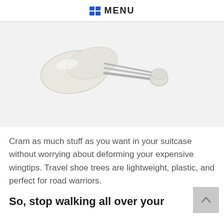MENU
[Figure (photo): A plastic travel shoe tree with two white/translucent wing-shaped toe pieces connected by silver metal rods to a white plastic heel knob, shown on a light gray background.]
Cram as much stuff as you want in your suitcase without worrying about deforming your expensive wingtips. Travel shoe trees are lightweight, plastic, and perfect for road warriors.
So, stop walking all over your